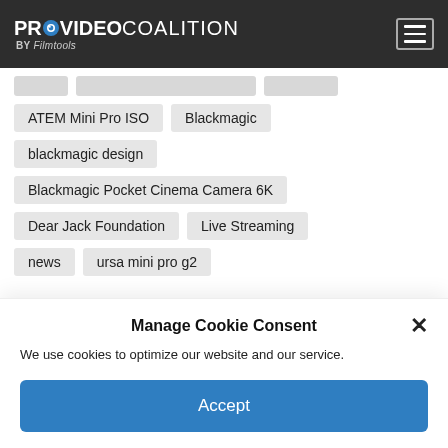PROVIDEO COALITION BY Filmtools
ATEM Mini Pro ISO
Blackmagic
blackmagic design
Blackmagic Pocket Cinema Camera 6K
Dear Jack Foundation
Live Streaming
news
ursa mini pro g2
Manage Cookie Consent
We use cookies to optimize our website and our service.
Accept